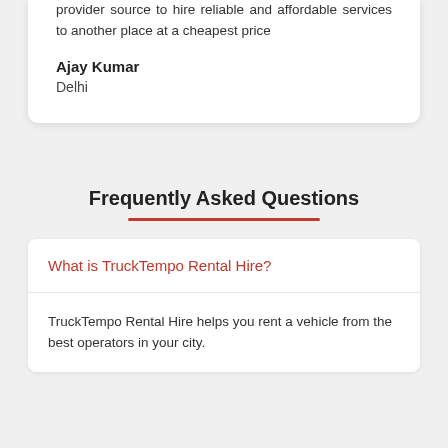provider source to hire reliable and affordable services to another place at a cheapest price
Ajay Kumar
Delhi
Frequently Asked Questions
What is TruckTempo Rental Hire?
TruckTempo Rental Hire helps you rent a vehicle from the best operators in your city.